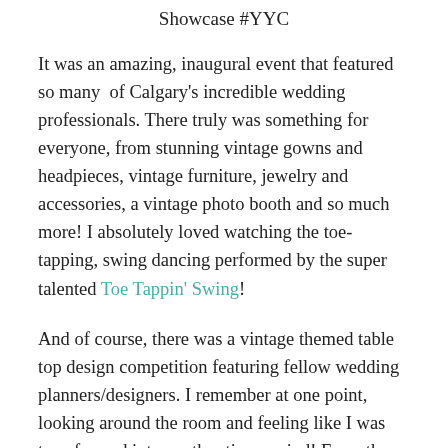Showcase #YYC
It was an amazing, inaugural event that featured so many  of Calgary's incredible wedding professionals. There truly was something for everyone, from stunning vintage gowns and headpieces, vintage furniture, jewelry and accessories, a vintage photo booth and so much more! I absolutely loved watching the toe-tapping, swing dancing performed by the super talented Toe Tappin' Swing!
And of course, there was a vintage themed table top design competition featuring fellow wedding planners/designers. I remember at one point, looking around the room and feeling like I was transformed into another time period! From the